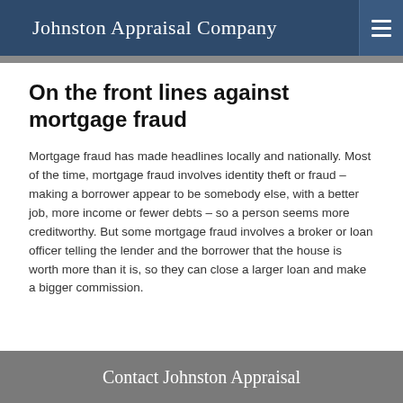Johnston Appraisal Company
On the front lines against mortgage fraud
Mortgage fraud has made headlines locally and nationally. Most of the time, mortgage fraud involves identity theft or fraud – making a borrower appear to be somebody else, with a better job, more income or fewer debts – so a person seems more creditworthy. But some mortgage fraud involves a broker or loan officer telling the lender and the borrower that the house is worth more than it is, so they can close a larger loan and make a bigger commission.
Contact Johnston Appraisal